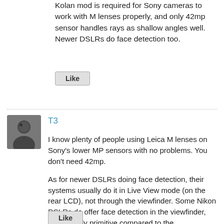Kolan mod is required for Sony cameras to work with M lenses properly, and only 42mp sensor handles rays as shallow angles well. Newer DSLRs do face detection too.
Like
T3
I know plenty of people using Leica M lenses on Sony's lower MP sensors with no problems. You don't need 42mp.

As for newer DSLRs doing face detection, their systems usually do it in Live View mode (on the rear LCD), not through the viewfinder. Some Nikon DSLRs do offer face detection in the viewfinder, but it's fairly primitive compared to the performance of face detection on mirrorless bodies. DSLR systems don't have very good resolution for detecting faces, and it only works in the focus coverage area, which is much smaller than on mirrorless cameras.
Like